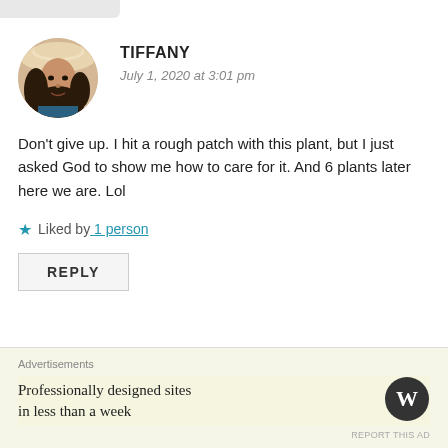[Figure (photo): Circular avatar photo of a woman named Tiffany wearing a hat]
TIFFANY
July 1, 2020 at 3:01 pm
Don't give up. I hit a rough patch with this plant, but I just asked God to show me how to care for it. And 6 plants later here we are. Lol
★ Liked by 1 person
REPLY
Advertisements
Professionally designed sites in less than a week